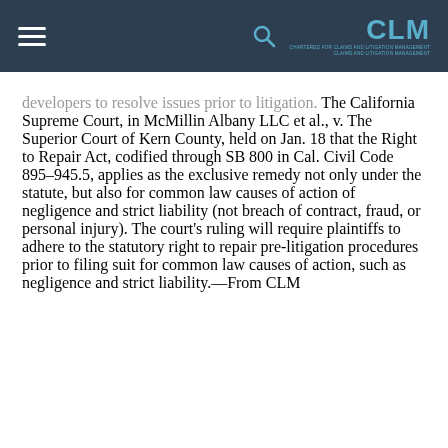CLM — Claims and Litigation Management Alliance
developers to resolve issues prior to litigation. The California Supreme Court, in McMillin Albany LLC et al., v. The Superior Court of Kern County, held on Jan. 18 that the Right to Repair Act, codified through SB 800 in Cal. Civil Code 895–945.5, applies as the exclusive remedy not only under the statute, but also for common law causes of action of negligence and strict liability (not breach of contract, fraud, or personal injury). The court's ruling will require plaintiffs to adhere to the statutory right to repair pre-litigation procedures prior to filing suit for common law causes of action, such as negligence and strict liability.—From CLM